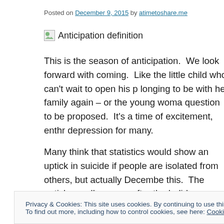Posted on December 9, 2015 by atimetoshare.me
[Figure (illustration): Broken image placeholder with alt text 'Anticipation definition']
This is the season of anticipation.  We look forward with coming.  Like the little child who can't wait to open his p longing to be with her family again – or the young woma question to be proposed.  It's a time of excitement, enthr depression for many.
Many think that statistics would show an uptick in suicide if people are isolated from others, but actually Decembe this.  The uptick usually occurs after the holidays, when t
Privacy & Cookies: This site uses cookies. By continuing to use this website, you agree to their use.
To find out more, including how to control cookies, see here: Cookie Policy